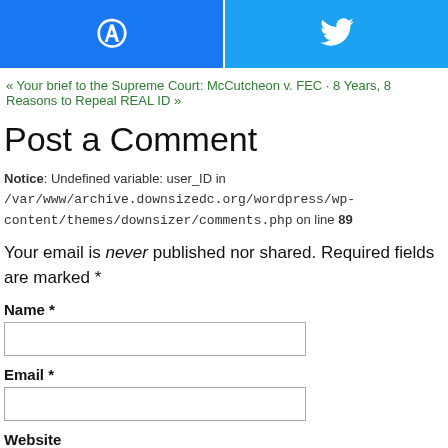[Figure (other): Social share buttons: Facebook (blue) and Twitter (light blue) side by side]
« Your brief to the Supreme Court: McCutcheon v. FEC · 8 Years, 8 Reasons to Repeal REAL ID »
Post a Comment
Notice: Undefined variable: user_ID in /var/www/archive.downsizedc.org/wordpress/wp-content/themes/downsizer/comments.php on line 89
Your email is never published nor shared. Required fields are marked *
Name *
Email *
Website